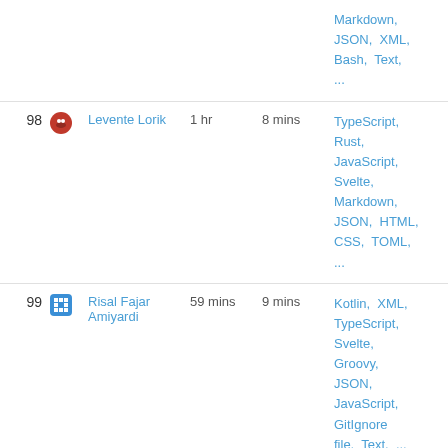| # | User | Total time | Daily average | Languages |
| --- | --- | --- | --- | --- |
|  |  |  |  | Markdown, JSON, XML, Bash, Text, ... |
| 98 | Levente Lorik | 1 hr | 8 mins | TypeScript, Rust, JavaScript, Svelte, Markdown, JSON, HTML, CSS, TOML, ... |
| 99 | Risal Fajar Amiyardi | 59 mins | 9 mins | Kotlin, XML, TypeScript, Svelte, Groovy, JSON, JavaScript, GitIgnore file, Text, ... |
| 100 | Черепанов Александр Павлович | 52 mins | 13 mins | Rust, Svelte, TOML, Bash, ... |